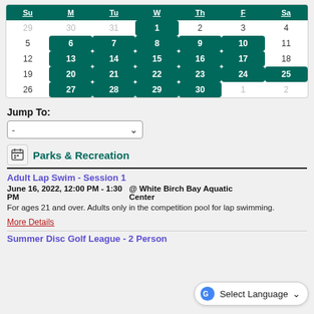[Figure (other): Monthly calendar grid showing days Su, M, Tu, W, Th, F, Sa. Highlighted (teal/green) days: 1, 6, 7, 8, 9, 10, 13, 14, 15, 16, 17, 20, 21, 22, 23, 24, 25, 27, 28, 29, 30. Greyed out: 29, 30, 31 (prior month), 1, 2 (next month).]
Jump To:
-
Parks & Recreation
Adult Lap Swim - Session 1
June 16, 2022, 12:00 PM - 1:30 PM @ White Birch Bay Aquatic Center
For ages 21 and over. Adults only in the competition pool for lap swimming.
More Details
Summer Disc Golf League - 2 Person